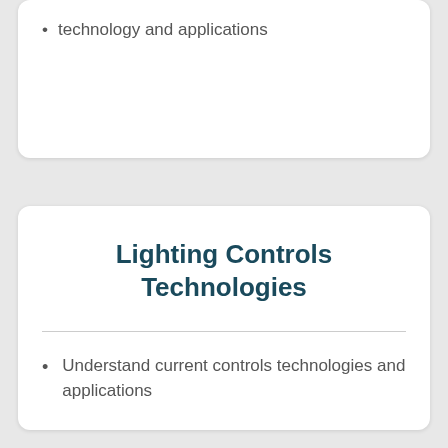technology and applications
Lighting Controls Technologies
Understand current controls technologies and applications